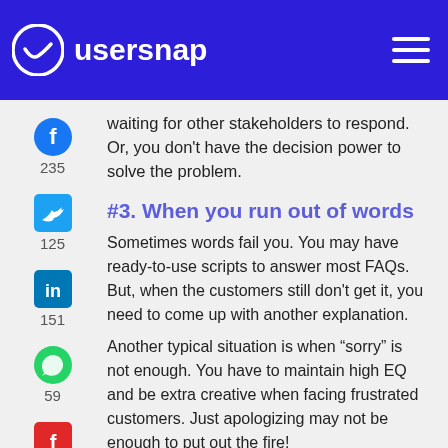usersnap
waiting for other stakeholders to respond. Or, you don't have the decision power to solve the problem.
#3. When you run out of words
Sometimes words fail you. You may have ready-to-use scripts to answer most FAQs. But, when the customers still don't get it, you need to come up with another explanation.
Another typical situation is when “sorry” is not enough. You have to maintain high EQ and be extra creative when facing frustrated customers. Just apologizing may not be enough to put out the fire!
#4. No one appreciates you